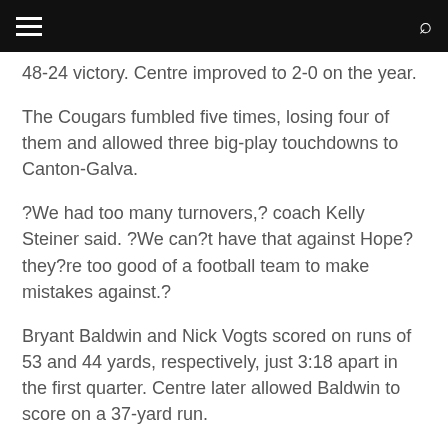48-24 victory. Centre improved to 2-0 on the year.
The Cougars fumbled five times, losing four of them and allowed three big-play touchdowns to Canton-Galva.
?We had too many turnovers,? coach Kelly Steiner said. ?We can?t have that against Hope?they?re too good of a football team to make mistakes against.?
Bryant Baldwin and Nick Vogts scored on runs of 53 and 44 yards, respectively, just 3:18 apart in the first quarter. Centre later allowed Baldwin to score on a 37-yard run.